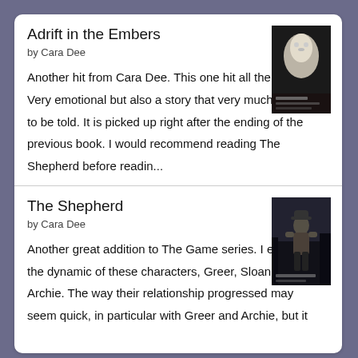Adrift in the Embers
by Cara Dee
[Figure (photo): Book cover for Adrift in the Embers showing a white animal (possibly a cat or wolf) on a dark background]
Another hit from Cara Dee. This one hit all the feels. Very emotional but also a story that very much needed to be told. It is picked up right after the ending of the previous book. I would recommend reading The Shepherd before readin...
The Shepherd
by Cara Dee
[Figure (photo): Book cover for The Shepherd showing a shirtless man in dark surroundings]
Another great addition to The Game series. I enjoyed the dynamic of these characters, Greer, Sloan and Archie. The way their relationship progressed may seem quick, in particular with Greer and Archie, but it